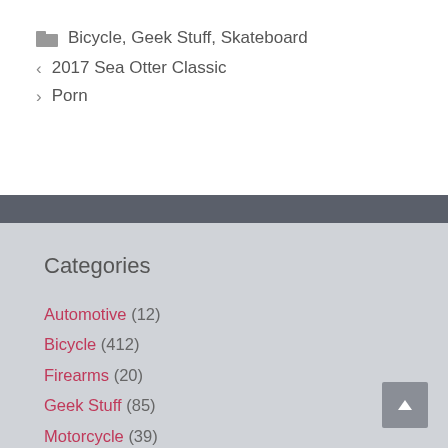Bicycle, Geek Stuff, Skateboard
< 2017 Sea Otter Classic
> Porn
Categories
Automotive (12)
Bicycle (412)
Firearms (20)
Geek Stuff (85)
Motorcycle (39)
Photography (17)